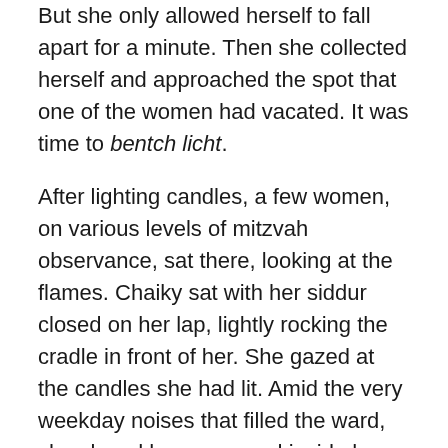But she only allowed herself to fall apart for a minute. Then she collected herself and approached the spot that one of the women had vacated. It was time to bentch licht.
After lighting candles, a few women, on various levels of mitzvah observance, sat there, looking at the flames. Chaiky sat with her siddur closed on her lap, lightly rocking the cradle in front of her. She gazed at the candles she had lit. Amid the very weekday noises that filled the ward, she closed her eyes, and inside her closed lids, the small flames she’d been staring at grew to bright rays of light, so strong that they were almost blinding.
Nur Faiza, her roommate, passed by and smiled. “Nice, nice fire!” she remarked as she pushed the cradle with her sleeping son inside.
At the end of a Shabbos meal beautifully arranged by the